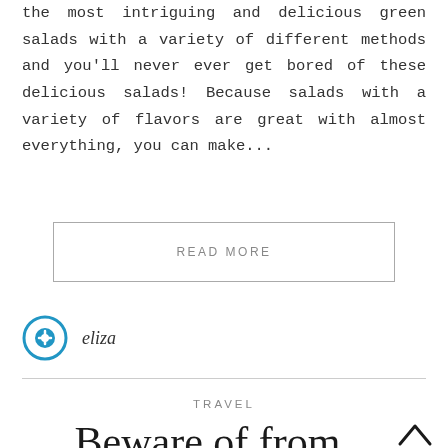the most intriguing and delicious green salads with a variety of different methods and you'll never ever get bored of these delicious salads! Because salads with a variety of flavors are great with almost everything, you can make...
READ MORE
eliza
TRAVEL
Beware of from touching other passengers on